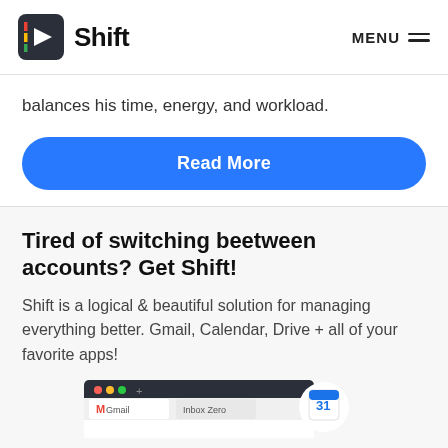Shift — MENU
balances his time, energy, and workload.
Read More
Tired of switching beetween accounts? Get Shift!
Shift is a logical & beautiful solution for managing everything better. Gmail, Calendar, Drive + all of your favorite apps!
[Figure (screenshot): Screenshot of Shift app interface showing Gmail and Google Calendar tabs with a calendar icon showing day 31]